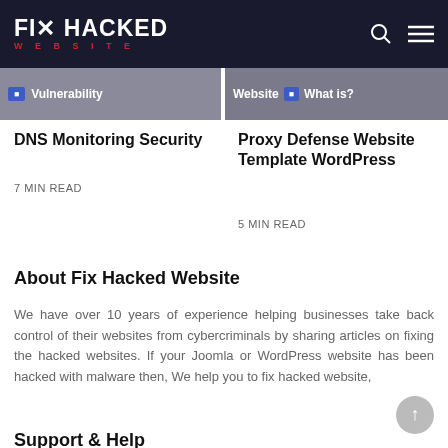FIX HACKED WEBSITE
[Figure (screenshot): Partially visible article thumbnail strip showing 'Vulnerability' label on left and 'Website What is?' label on right]
DNS Monitoring Security
7 MIN READ
Proxy Defense Website Template WordPress
5 MIN READ
About Fix Hacked Website
We have over 10 years of experience helping businesses take back control of their websites from cybercriminals by sharing articles on fixing the hacked websites. If your Joomla or WordPress website has been hacked with malware then, We help you to fix hacked website,
Support & Help